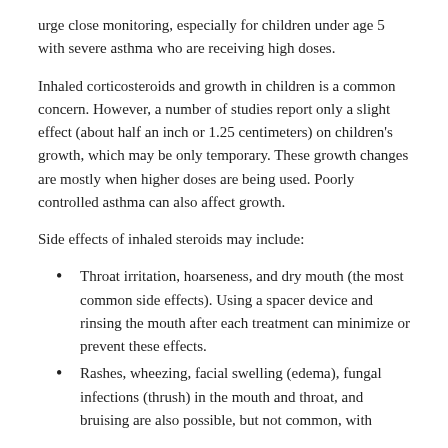urge close monitoring, especially for children under age 5 with severe asthma who are receiving high doses.
Inhaled corticosteroids and growth in children is a common concern. However, a number of studies report only a slight effect (about half an inch or 1.25 centimeters) on children's growth, which may be only temporary. These growth changes are mostly when higher doses are being used. Poorly controlled asthma can also affect growth.
Side effects of inhaled steroids may include:
Throat irritation, hoarseness, and dry mouth (the most common side effects). Using a spacer device and rinsing the mouth after each treatment can minimize or prevent these effects.
Rashes, wheezing, facial swelling (edema), fungal infections (thrush) in the mouth and throat, and bruising are also possible, but not common, with inhaled...